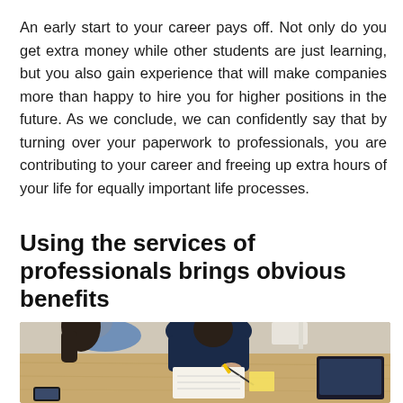An early start to your career pays off. Not only do you get extra money while other students are just learning, but you also gain experience that will make companies more than happy to hire you for higher positions in the future. As we conclude, we can confidently say that by turning over your paperwork to professionals, you are contributing to your career and freeing up extra hours of your life for equally important life processes.
Using the services of professionals brings obvious benefits
[Figure (photo): Overhead view of two people sitting at a wooden table, one writing with a pen on paper, the other looking on; a laptop is visible on the right side of the table.]